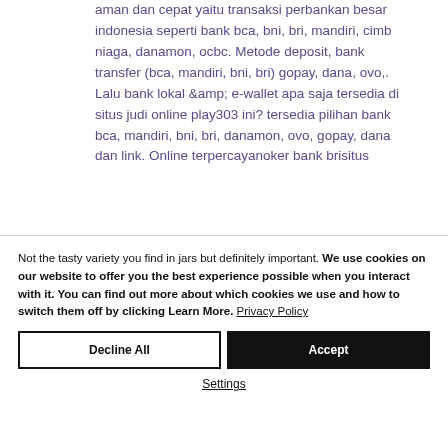aman dan cepat yaitu transaksi perbankan besar indonesia seperti bank bca, bni, bri, mandiri, cimb niaga, danamon, ocbc. Metode deposit, bank transfer (bca, mandiri, bni, bri) gopay, dana, ovo,. Lalu bank lokal &amp; e-wallet apa saja tersedia di situs judi online play303 ini? tersedia pilihan bank bca, mandiri, bni, bri, danamon, ovo, gopay, dana dan link. Online terpercayanoker bank brisitus
Not the tasty variety you find in jars but definitely important. We use cookies on our website to offer you the best experience possible when you interact with it. You can find out more about which cookies we use and how to switch them off by clicking Learn More. Privacy Policy
Decline All
Accept
Settings